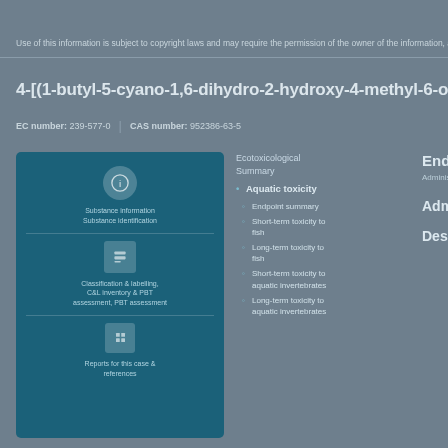Use of this information is subject to copyright laws and may require the permission of the owner of the information, as described in the ECHA Legal Notice.
4-[(1-butyl-5-cyano-1,6-dihydro-2-hydroxy-4-methyl-6-ox...
EC number: 239-577-0    CAS number: 952386-63-5
[Figure (infographic): Blue info panel with icons for substance information, classification & labelling, and regulatory information sections]
Ecotoxicological Summary
Aquatic toxicity
Endpoint summary
Short-term toxicity to fish
Long-term toxicity to fish
Short-term toxicity to aquatic invertebrates
Long-term toxicity to aquatic invertebrates
Endpoint su...
Administration r...
Administrati...
Description o...